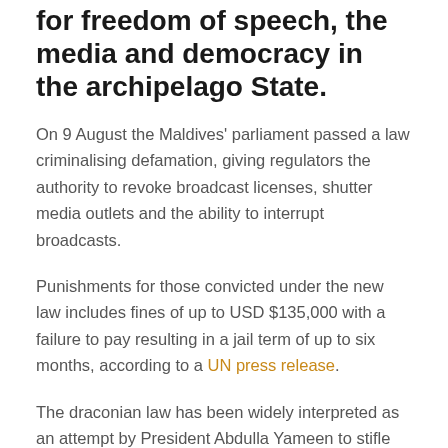for freedom of speech, the media and democracy in the archipelago State.
On 9 August the Maldives' parliament passed a law criminalising defamation, giving regulators the authority to revoke broadcast licenses, shutter media outlets and the ability to interrupt broadcasts.
Punishments for those convicted under the new law includes fines of up to USD $135,000 with a failure to pay resulting in a jail term of up to six months, according to a UN press release.
The draconian law has been widely interpreted as an attempt by President Abdulla Yameen to stifle criticism from both the media and Maldivian citizens, after accusations of human rights violations and embezzlement. The draconian law